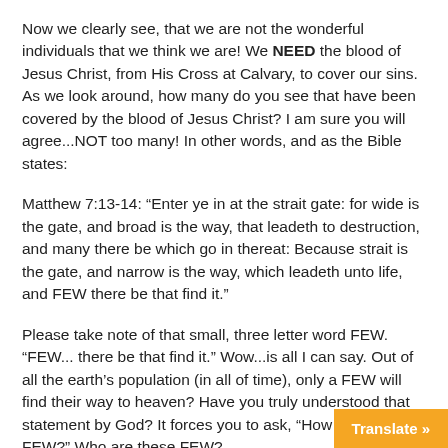Now we clearly see, that we are not the wonderful individuals that we think we are! We NEED the blood of Jesus Christ, from His Cross at Calvary, to cover our sins. As we look around, how many do you see that have been covered by the blood of Jesus Christ? I am sure you will agree...NOT too many! In other words, and as the Bible states:
Matthew 7:13-14: “Enter ye in at the strait gate: for wide is the gate, and broad is the way, that leadeth to destruction, and many there be which go in thereat: Because strait is the gate, and narrow is the way, which leadeth unto life, and FEW there be that find it.”
Please take note of that small, three letter word FEW. “FEW... there be that find it.” Wow...is all I can say. Out of all the earth’s population (in all of time), only a FEW will find their way to heaven? Have you truly understood that statement by God? It forces you to ask, “How many are a FEW?” Who are these FEW?